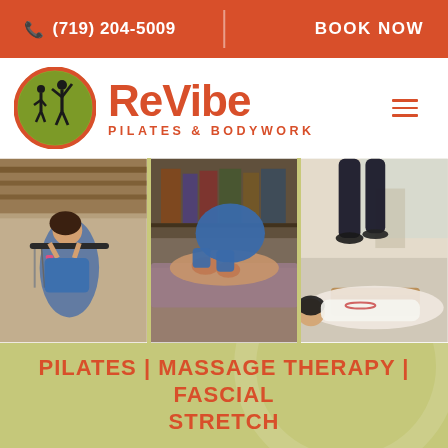(719) 204-5009 | BOOK NOW
[Figure (logo): ReVibe Pilates & Bodywork logo with green circle containing silhouetted figures]
[Figure (photo): Three photos: woman doing pilates on equipment, massage therapist working on client, person lying on bodywork equipment]
PILATES | MASSAGE THERAPY | FASCIAL STRETCH